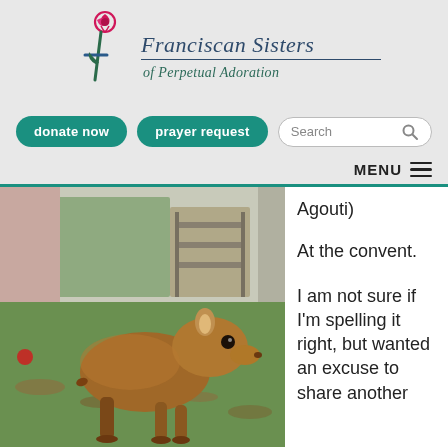[Figure (logo): Franciscan Sisters of Perpetual Adoration logo with rose and cross]
Franciscan Sisters of Perpetual Adoration
donate now
prayer request
Search
MENU
[Figure (photo): An agouti (large rodent) standing on grass and fallen leaves in an outdoor courtyard setting]
Agouti)
At the convent.
I am not sure if I'm spelling it right, but wanted an excuse to share another